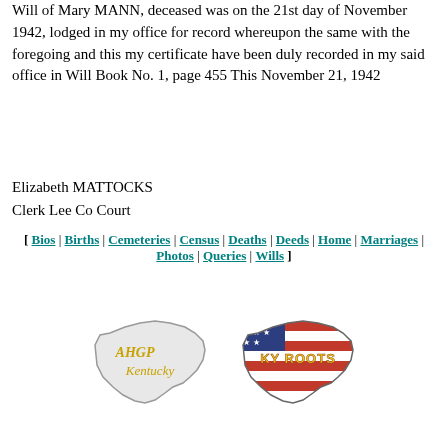Will of Mary MANN, deceased was on the 21st day of November 1942, lodged in my office for record whereupon the same with the foregoing and this my certificate have been duly recorded in my said office in Will Book No. 1, page 455 This November 21, 1942
Elizabeth MATTOCKS
Clerk Lee Co Court
[ Bios | Births | Cemeteries | Census | Deaths | Deeds | Home | Marriages | Photos | Queries | Wills ]
[Figure (logo): AHGP Kentucky logo — outline of Kentucky state shape with gold script text 'AHGP Kentucky']
[Figure (logo): KY Roots logo — Kentucky state shape filled with American flag pattern and text 'KY ROOTS']